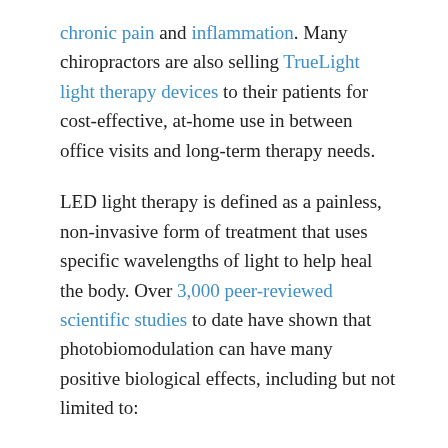chronic pain and inflammation. Many chiropractors are also selling TrueLight light therapy devices to their patients for cost-effective, at-home use in between office visits and long-term therapy needs.
LED light therapy is defined as a painless, non-invasive form of treatment that uses specific wavelengths of light to help heal the body. Over 3,000 peer-reviewed scientific studies to date have shown that photobiomodulation can have many positive biological effects, including but not limited to:
Accelerated muscle recovery
Faster would/injury healing
Pain relief
Improved blood and oxygen circulation